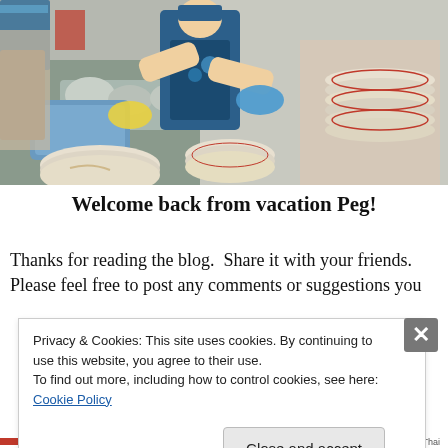[Figure (photo): People wearing gloves washing and stacking dishes in a kitchen setting. Large stacks of white plates visible, with blue plastic tubs and metal trays in the background.]
Welcome back from vacation Peg!
Thanks for reading the blog.  Share it with your friends. Please feel free to post any comments or suggestions you
Privacy & Cookies: This site uses cookies. By continuing to use this website, you agree to their use.
To find out more, including how to control cookies, see here: Cookie Policy
Close and accept